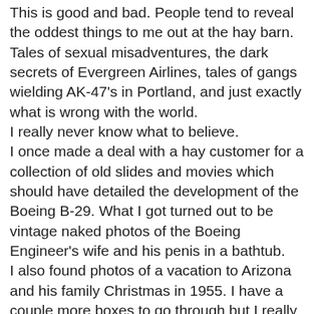This is good and bad. People tend to reveal the oddest things to me out at the hay barn. Tales of sexual misadventures, the dark secrets of Evergreen Airlines, tales of gangs wielding AK-47's in Portland, and just exactly what is wrong with the world. I really never know what to believe. I once made a deal with a hay customer for a collection of old slides and movies which should have detailed the development of the Boeing B-29. What I got turned out to be vintage naked photos of the Boeing Engineer's wife and his penis in a bathtub. I also found photos of a vacation to Arizona and his family Christmas in 1955. I have a couple more boxes to go through but I really don't want to see more penis photos. The bathtub was nice. Had nice old style fixtures. But, I digress... I've been getting conspiracy theories. It is kind of amazing the number of people I meet who are convinced there is an evil plot to rule the world and whomever is currently president, is in on the plot. I have my own theory. It is the Conspiracy of Stupidity. People laugh at me when I